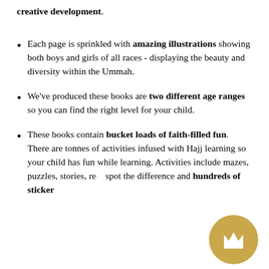creative development.
Each page is sprinkled with amazing illustrations showing both boys and girls of all races - displaying the beauty and diversity within the Ummah.
We've produced these books are two different age ranges so you can find the right level for your child.
These books contain bucket loads of faith-filled fun. There are tonnes of activities infused with Hajj learning so your child has fun while learning. Activities include mazes, puzzles, stories, re[...] spot the difference and hundreds of sticker[...]
[Figure (illustration): Gold circular badge with a crown icon in white, positioned in the bottom-right corner of the page.]